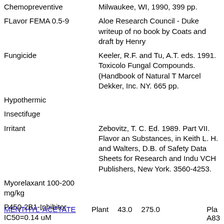| Activity | Reference |
| --- | --- |
| Chemopreventive | Milwaukee, WI, 1990, 399 pp. |
| FLavor FEMA 0.5-9 | Aloe Research Council - Duke writeup of no book by Coats and draft by Henry |
| Fungicide | Keeler, R.F. and Tu, A.T. eds. 1991. Toxicolo Fungal Compounds. (Handbook of Natural T Marcel Dekker, Inc. NY. 665 pp. |
| Hypothermic |  |
| Insectifuge |  |
| Irritant | Zebovitz, T. C. Ed. 1989. Part VII. Flavor an Substances, in Keith L. H. and Walters, D.B. of Safety Data Sheets for Research and Indu VCH Publishers, New York. 3560-4253. |
| Myorelaxant 100-200 mg/kg |  |
| P450-2B1-Inhibitor IC50=0.14 uM |  |
| Perfumery | Jeffery B. Harborne and H. Baxter, eds. 1983 Dictionary. A Handbook of Bioactive Compo Taylor & Frost, London. 791 pp. |
| Pesticide |  |
MENTHYL-ACETATE    Plant    43.0    275.0    Pla A83